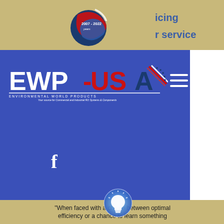[Figure (logo): EWP-USA 15th anniversary logo (2007-2022), circular design with red and blue swoosh elements]
icing
r service
[Figure (logo): EWP-USA Environmental World Products logo with tagline 'Your source for Commercial and Industrial RO Systems & Components']
[Figure (screenshot): Search bar with placeholder text 'Search...' and search icon]
[Figure (illustration): Facebook 'f' icon in white]
[Figure (illustration): Light blue circular icon with white lightbulb]
"When faced with a choice between optimal efficiency or a chance to learn something